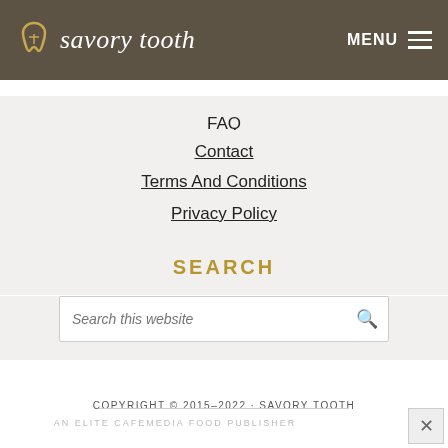savory tooth
FAQ
Contact
Terms And Conditions
Privacy Policy
SEARCH
Search this website
COPYRIGHT © 2015–2022 · SAVORY TOOTH
AN ELITE CAFEMEDIA FOOD PUBLISHER